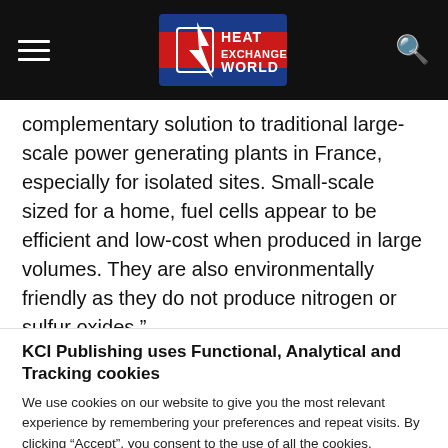Heat Exchanger World [logo/navigation header]
complementary solution to traditional large-scale power generating plants in France, especially for isolated sites. Small-scale sized for a home, fuel cells appear to be efficient and low-cost when produced in large volumes. They are also environmentally friendly as they do not produce nitrogen or sulfur oxides,”
KCI Publishing uses Functional, Analytical and Tracking cookies
We use cookies on our website to give you the most relevant experience by remembering your preferences and repeat visits. By clicking “Accept”, you consent to the use of all the cookies.
Cookie settings   ACCEPT